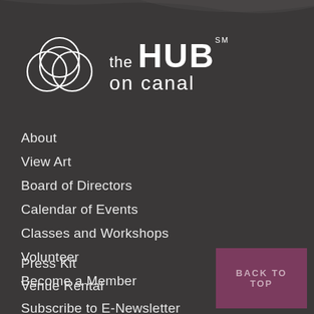[Figure (logo): The Hub on Canal logo with overlapping circles and text]
About
View Art
Board of Directors
Calendar of Events
Classes and Workshops
Volunteer
Become a Member
Press Kit
Venue Rental
Subscribe to E-Newsletter
BACK TO TOP